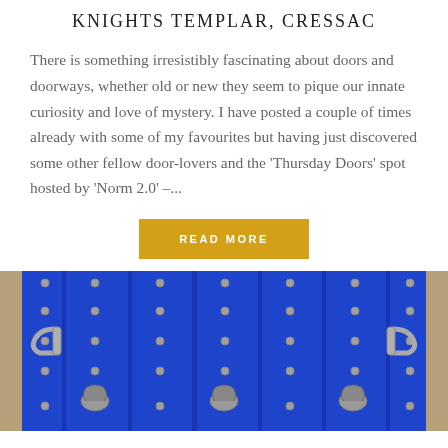KNIGHTS TEMPLAR, CRESSAC
There is something irresistibly fascinating about doors and doorways, whether old or new they seem to pique our innate curiosity and love of mystery. I have posted a couple of times already with some of my favourites but having just discovered some other fellow door-lovers and the ‘Thursday Doors’ spot hosted by ‘Norm 2.0’ –...
READ MORE
[Figure (photo): A large ornate blue wooden door with decorative metal hardware including handles and studs, photographed close-up]